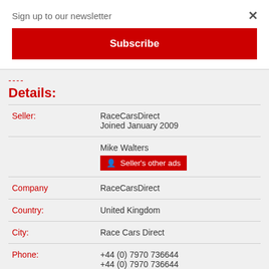Sign up to our newsletter
Subscribe
---- Details:
| Field | Value |
| --- | --- |
| Seller: | RaceCarsDirect
Joined January 2009 |
|  | Mike Walters
Seller's other ads |
| Company | RaceCarsDirect |
| Country: | United Kingdom |
| City: | Race Cars Direct |
| Phone: | +44 (0) 7970 736644
+44 (0) 7970 736644 |